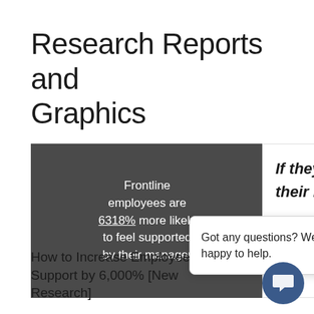Research Reports and Graphics
[Figure (screenshot): Dark gray card with white text: 'Frontline employees are 6318% more likely to feel supported by their manager']
[Figure (screenshot): White card with italic bold text 'If they say their manager...' partially visible]
[Figure (screenshot): Chat popup overlay with close X button and text 'Got any questions? We are happy to help.' with a dark blue circular chat button in the bottom right]
How to Increase Employee Support by 6,000% [New Research]